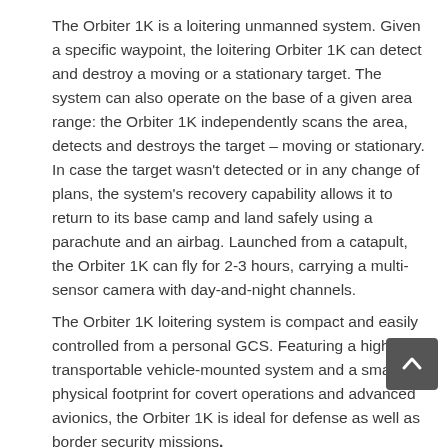The Orbiter 1K is a loitering unmanned system. Given a specific waypoint, the loitering Orbiter 1K can detect and destroy a moving or a stationary target. The system can also operate on the base of a given area range: the Orbiter 1K independently scans the area, detects and destroys the target – moving or stationary. In case the target wasn't detected or in any change of plans, the system's recovery capability allows it to return to its base camp and land safely using a parachute and an airbag. Launched from a catapult, the Orbiter 1K can fly for 2-3 hours, carrying a multi-sensor camera with day-and-night channels.
The Orbiter 1K loitering system is compact and easily controlled from a personal GCS. Featuring a highly transportable vehicle-mounted system and a small physical footprint for covert operations and advanced avionics, the Orbiter 1K is ideal for defense as well as border security missions.